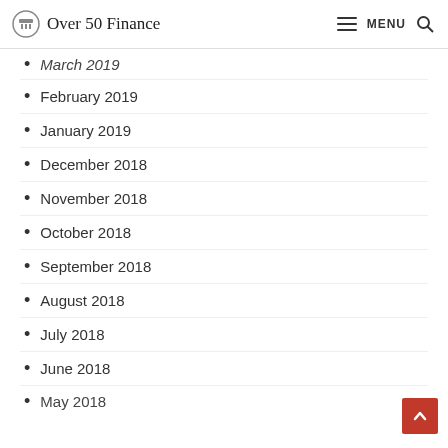Over 50 Finance  ☰ MENU 🔍
March 2019
February 2019
January 2019
December 2018
November 2018
October 2018
September 2018
August 2018
July 2018
June 2018
May 2018